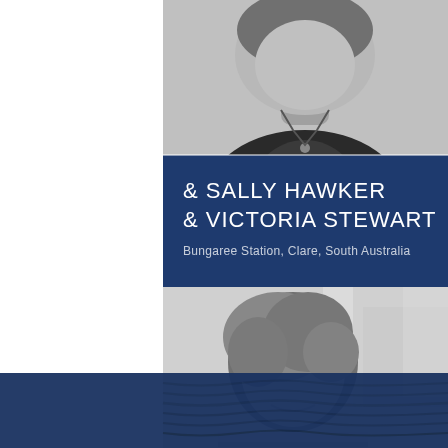[Figure (photo): Black and white portrait photo of a person (upper body, partial view) against a light background]
& SALLY HAWKER
& VICTORIA STEWART
Bungaree Station, Clare, South Australia
[Figure (photo): Black and white portrait photo of a woman with short curly hair, smiling, with a building in the background]